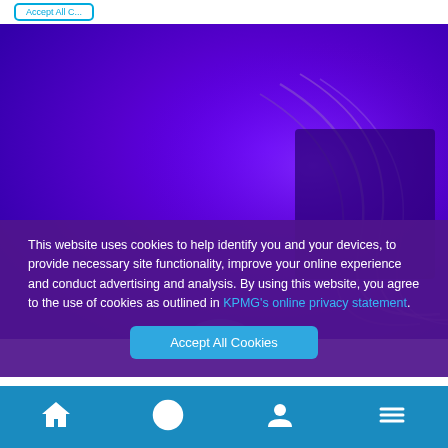[Figure (screenshot): Top navigation bar with a blue-outlined button (partially visible text)]
[Figure (photo): Purple-blue gradient background with abstract curved shapes in the right half, KPMG website hero image]
This website uses cookies to help identify you and your devices, to provide necessary site functionality, improve your online experience and conduct advertising and analysis. By using this website, you agree to the use of cookies as outlined in KPMG's online privacy statement.
Accept All Cookies
[Figure (screenshot): Bottom navigation bar with home, back arrow, person, and hamburger menu icons on a blue background]